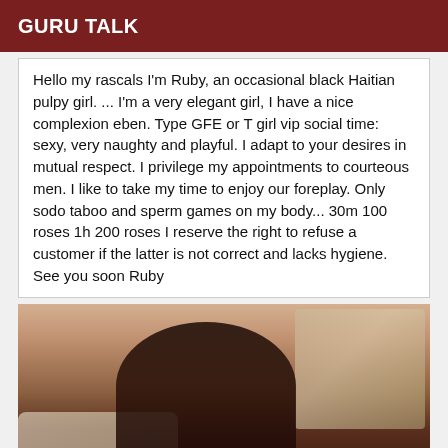GURU TALK
Hello my rascals I'm Ruby, an occasional black Haitian pulpy girl. ... I'm a very elegant girl, I have a nice complexion eben. Type GFE or T girl vip social time: sexy, very naughty and playful. I adapt to your desires in mutual respect. I privilege my appointments to courteous men. I like to take my time to enjoy our foreplay. Only sodo taboo and sperm games on my body... 30m 100 roses 1h 200 roses I reserve the right to refuse a customer if the latter is not correct and lacks hygiene. See you soon Ruby
[Figure (photo): A woman with dark skin seen from behind, wearing a black strapless top, with a sofa and window visible in the background]